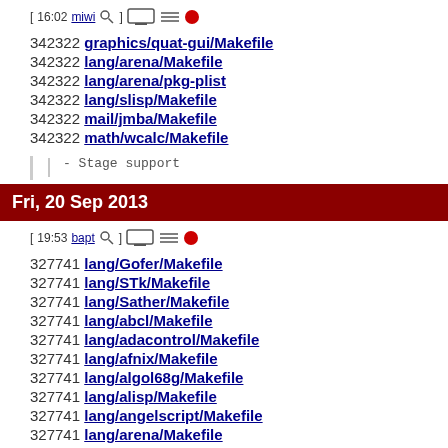[ 16:02 miwi ] - icons
342322 graphics/quat-gui/Makefile
342322 lang/arena/Makefile
342322 lang/arena/pkg-plist
342322 lang/slisp/Makefile
342322 mail/jmba/Makefile
342322 math/wcalc/Makefile
- Stage support
Fri, 20 Sep 2013
[ 19:53 bapt ] - icons
327741 lang/Gofer/Makefile
327741 lang/STk/Makefile
327741 lang/Sather/Makefile
327741 lang/abcl/Makefile
327741 lang/adacontrol/Makefile
327741 lang/afnix/Makefile
327741 lang/algol68g/Makefile
327741 lang/alisp/Makefile
327741 lang/angelscript/Makefile
327741 lang/arena/Makefile